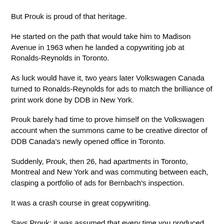But Prouk is proud of that heritage.
He started on the path that would take him to Madison Avenue in 1963 when he landed a copywriting job at Ronalds-Reynolds in Toronto.
As luck would have it, two years later Volkswagen Canada turned to Ronalds-Reynolds for ads to match the brilliance of print work done by DDB in New York.
Prouk barely had time to prove himself on the Volkswagen account when the summons came to be creative director of DDB Canada's newly opened office in Toronto.
Suddenly, Prouk, then 26, had apartments in Toronto, Montreal and New York and was commuting between each, clasping a portfolio of ads for Bernbach's inspection.
It was a crash course in great copywriting.
Says Prouk: it was assumed that every time you produced an ad, it